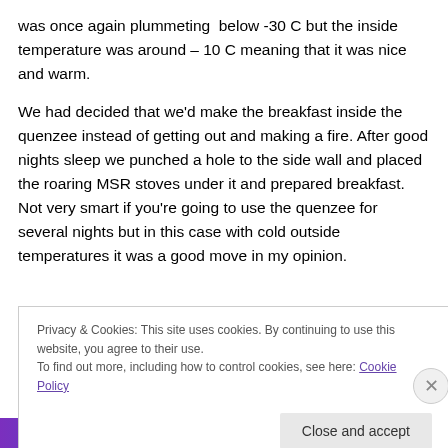was once again plummeting below -30 C but the inside temperature was around – 10 C meaning that it was nice and warm.
We had decided that we'd make the breakfast inside the quenzee instead of getting out and making a fire. After good nights sleep we punched a hole to the side wall and placed the roaring MSR stoves under it and prepared breakfast. Not very smart if you're going to use the quenzee for several nights but in this case with cold outside temperatures it was a good move in my opinion.
Privacy & Cookies: This site uses cookies. By continuing to use this website, you agree to their use.
To find out more, including how to control cookies, see here: Cookie Policy